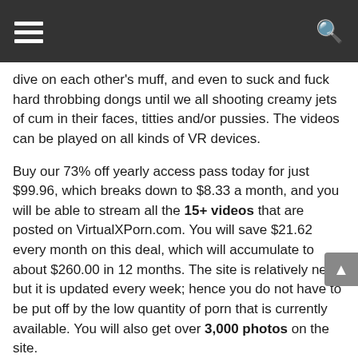[hamburger menu] [search icon]
dive on each other's muff, and even to suck and fuck hard throbbing dongs until we all shooting creamy jets of cum in their faces, titties and/or pussies. The videos can be played on all kinds of VR devices.
Buy our 73% off yearly access pass today for just $99.96, which breaks down to $8.33 a month, and you will be able to stream all the 15+ videos that are posted on VirtualXPorn.com. You will save $21.62 every month on this deal, which will accumulate to about $260.00 in 12 months. The site is relatively new, but it is updated every week; hence you do not have to be put off by the low quantity of porn that is currently available. You will also get over 3,000 photos on the site.
You can also use our $19.95 30-day all access pass to catch all the action on Virtual X Porn. The monthly subscription plan is 34% off the regular price of $29.95.